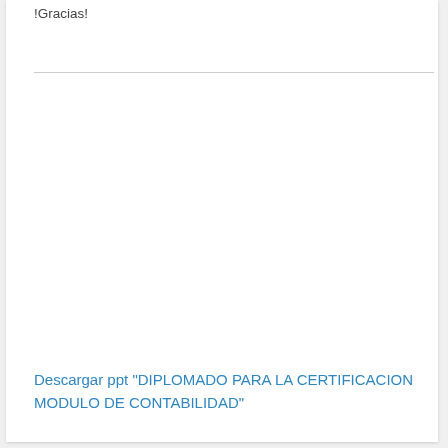!Gracias!
Descargar ppt "DIPLOMADO PARA LA CERTIFICACION MODULO DE CONTABILIDAD"